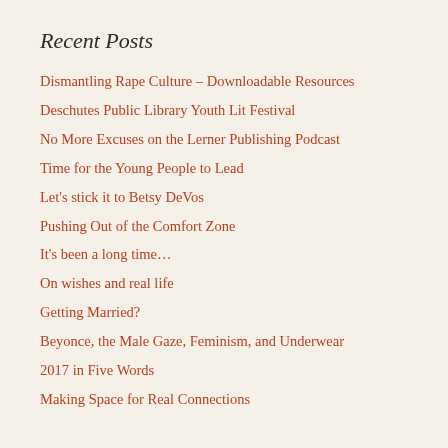Recent Posts
Dismantling Rape Culture – Downloadable Resources
Deschutes Public Library Youth Lit Festival
No More Excuses on the Lerner Publishing Podcast
Time for the Young People to Lead
Let's stick it to Betsy DeVos
Pushing Out of the Comfort Zone
It's been a long time…
On wishes and real life
Getting Married?
Beyonce, the Male Gaze, Feminism, and Underwear
2017 in Five Words
Making Space for Real Connections